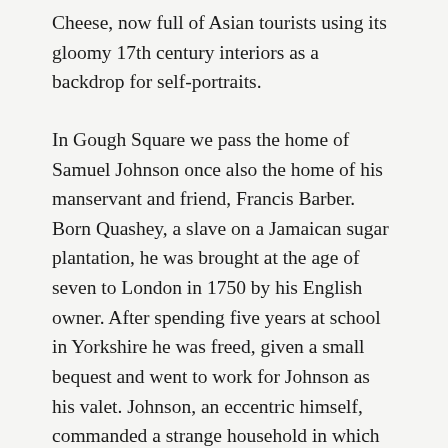Cheese, now full of Asian tourists using its gloomy 17th century interiors as a backdrop for self-portraits.
In Gough Square we pass the home of Samuel Johnson once also the home of his manservant and friend, Francis Barber. Born Quashey, a slave on a Jamaican sugar plantation, he was brought at the age of seven to London in 1750 by his English owner. After spending five years at school in Yorkshire he was freed, given a small bequest and went to work for Johnson as his valet. Johnson, an eccentric himself, commanded a strange household in which only ‘tolerable concord’ existed. The disharmony between the housekeeper, blind poet Anna Williams, Poll Carmichael, a former prostitute, Dr Levet, a destitute Quack and the cat Hodge was such that Francis ran away and joined the Navy returning to Gough Square in 1760 where he remained until Johnson’s death in 1784. During those last twenty four years he looked after his employer’s affairs